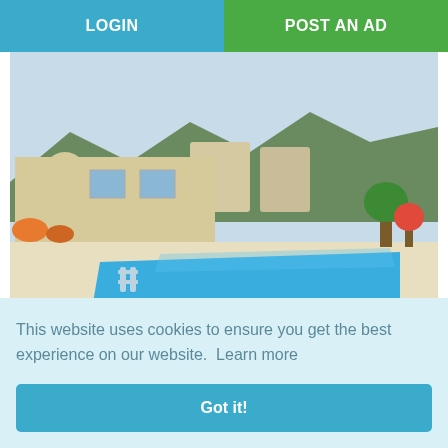LOGIN  |  POST AN AD
[Figure (photo): Aerial/side view of a detached stone villa with a large rectangular swimming pool in the foreground, surrounded by patio area and lush green trees and mountains in background.]
11 Aug 22
House (Detached) in Kamares, Paphos for Sale
€587,500
This website uses cookies to ensure you get the best experience on our website.  Learn more
Got it!